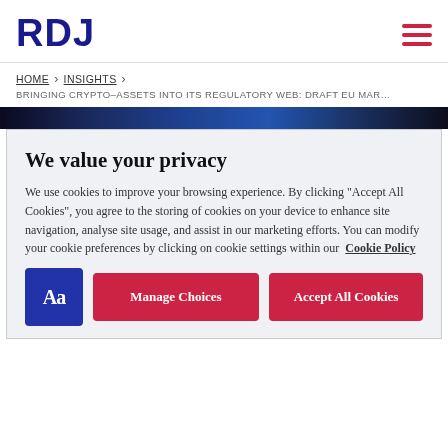RDJ
HOME > INSIGHTS > BRINGING CRYPTO-ASSETS INTO ITS REGULATORY WEB: DRAFT EU MAR...
We value your privacy
We use cookies to improve your browsing experience. By clicking “Accept All Cookies”, you agree to the storing of cookies on your device to enhance site navigation, analyse site usage, and assist in our marketing efforts. You can modify your cookie preferences by clicking on cookie settings within our Cookie Policy
Aa | Manage Choices | Accept All Cookies